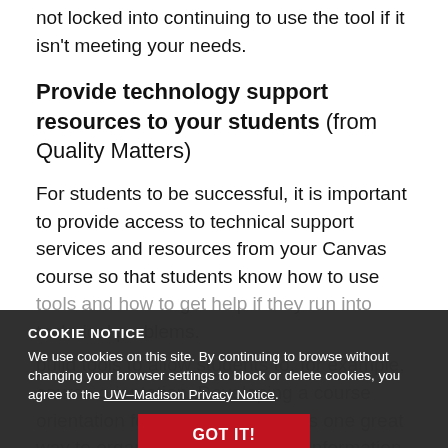not locked into continuing to use the tool if it isn't meeting your needs.
Provide technology support resources to your students (from Quality Matters)
For students to be successful, it is important to provide access to technical support services and resources from your Canvas course so that students know how to use tools and how to get help if they run into technical problems.
COOKIE NOTICE
We use cookies on this site. By continuing to browse without changing your browser settings to block or delete cookies, you agree to the UW–Madison Privacy Notice.
GOT IT!